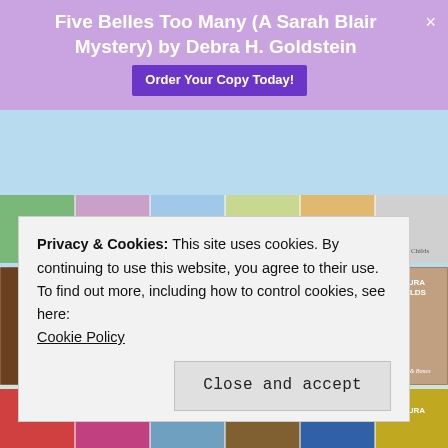Five Belles Too Many (A Sarah Blair Mystery) by Debra H. Goldstein
[Figure (screenshot): Grid of book covers by Laura Childs, Tea Shop Mystery series, showing multiple rows of cozy mystery novels with titles like Blueberry Blue, Dragonwell Dead, The Silver Needle Murder, Oolong Dead, Teaberry Strangler, Scones & Bones]
Privacy & Cookies: This site uses cookies. By continuing to use this website, you agree to their use.
To find out more, including how to control cookies, see here: Cookie Policy
Close and accept